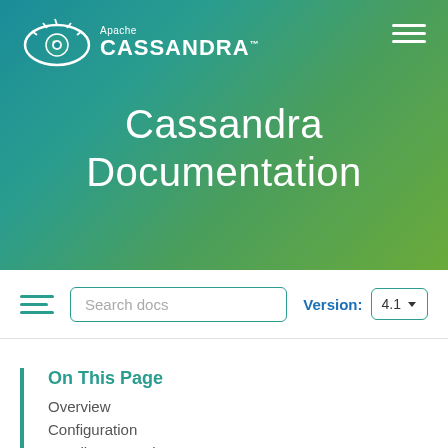[Figure (logo): Apache Cassandra logo with eye icon and wordmark]
Cassandra Documentation
Search docs | Version: 4.1
On This Page
Overview
Configuration
Reading CommitLogSegments